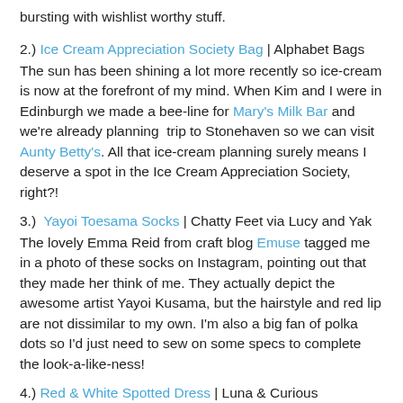bursting with wishlist worthy stuff.
2.) Ice Cream Appreciation Society Bag | Alphabet Bags
The sun has been shining a lot more recently so ice-cream is now at the forefront of my mind. When Kim and I were in Edinburgh we made a bee-line for Mary's Milk Bar and we're already planning trip to Stonehaven so we can visit Aunty Betty's. All that ice-cream planning surely means I deserve a spot in the Ice Cream Appreciation Society, right?!
3.) Yayoi Toesama Socks | Chatty Feet via Lucy and Yak
The lovely Emma Reid from craft blog Emuse tagged me in a photo of these socks on Instagram, pointing out that they made her think of me. They actually depict the awesome artist Yayoi Kusama, but the hairstyle and red lip are not dissimilar to my own. I'm also a big fan of polka dots so I'd just need to sew on some specs to complete the look-a-like-ness!
4.) Red & White Spotted Dress | Luna & Curious
Speaking of polka dots... I love this shirt dress! The red looks so bright and it looks like it would be super comfy to wear,